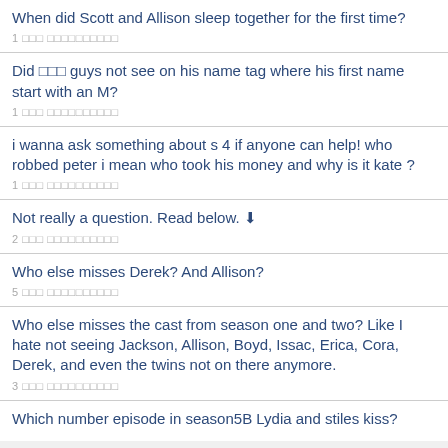When did Scott and Allison sleep together for the first time?
1 □□□ □□□□□□□□□□
Did □□□ guys not see on his name tag where his first name start with an M?
1 □□□ □□□□□□□□□□
i wanna ask something about s 4 if anyone can help! who robbed peter i mean who took his money and why is it kate ?
1 □□□ □□□□□□□□□□
Not really a question. Read below. ↓
2 □□□ □□□□□□□□□□
Who else misses Derek? And Allison?
5 □□□ □□□□□□□□□□
Who else misses the cast from season one and two? Like I hate not seeing Jackson, Allison, Boyd, Issac, Erica, Cora, Derek, and even the twins not on there anymore.
3 □□□ □□□□□□□□□□
Which number episode in season5B Lydia and stiles kiss?